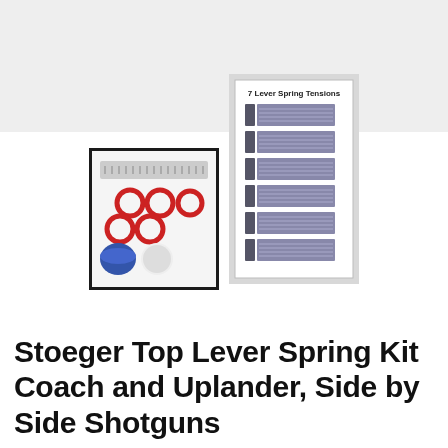[Figure (photo): Gray banner area at the top of the product listing page]
[Figure (photo): Product photo of Stoeger Top Lever Spring Kit showing o-rings (red and white), springs, and blue/white plastic caps on white background, with a black border indicating selected state]
[Figure (photo): Card showing 7 lever spring tensions with rows of springs arranged on white card with label '7 Lever Spring Tensions' at top]
Stoeger Top Lever Spring Kit Coach and Uplander, Side by Side Shotguns